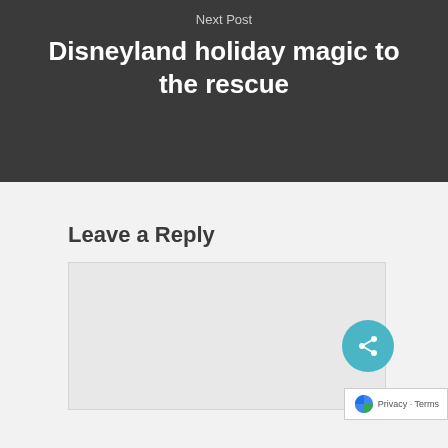Next Post
Disneyland holiday magic to the rescue
Leave a Reply
[Figure (screenshot): Comment text area input box (empty), light gray background]
[Figure (other): Teal circular share button with share icon, and reCAPTCHA privacy badge showing Privacy · Terms]